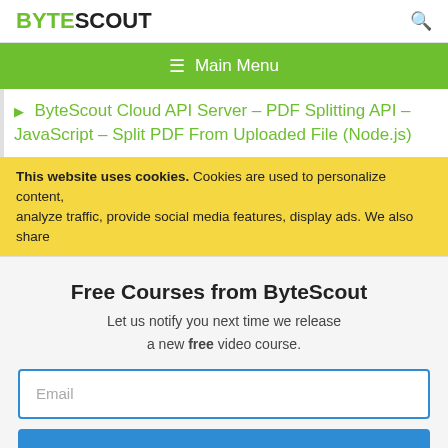BYTESCOUT
≡ Main Menu
ByteScout Cloud API Server – PDF Splitting API – JavaScript – Split PDF From Uploaded File (Node.js)
This website uses cookies. Cookies are used to personalize content, analyze traffic, provide social media features, display ads. We also share
Free Courses from ByteScout
Let us notify you next time we release a new free video course.
Email
SUBSCRIBE